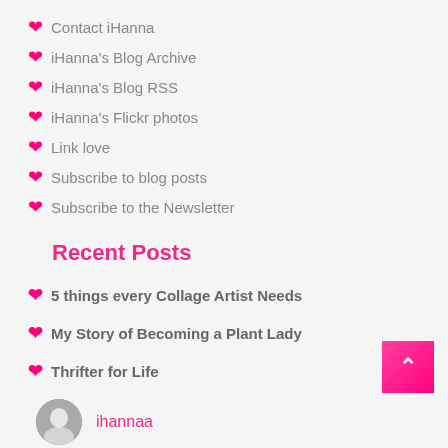Contact iHanna
iHanna's Blog Archive
iHanna's Blog RSS
iHanna's Flickr photos
Link love
Subscribe to blog posts
Subscribe to the Newsletter
Recent Posts
5 things every Collage Artist Needs
My Story of Becoming a Plant Lady
Thrifter for Life
Ode to the hands
Creating textile book pages
ihannaa